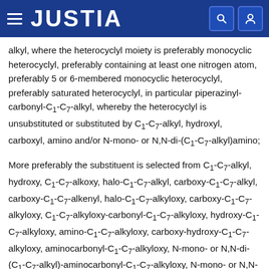JUSTIA
alkyl, where the heterocyclyl moiety is preferably monocyclic heterocyclyl, preferably containing at least one nitrogen atom, preferably 5 or 6-membered monocyclic heterocyclyl, preferably saturated heterocyclyl, in particular piperazinyl-carbonyl-C1-C7-alkyl, whereby the heterocyclyl is unsubstituted or substituted by C1-C7-alkyl, hydroxyl, carboxyl, amino and/or N-mono- or N,N-di-(C1-C7-alkyl)amino;
More preferably the substituent is selected from C1-C7-alkyl, hydroxy, C1-C7-alkoxy, halo-C1-C7-alkyl, carboxy-C1-C7-alkyl, carboxy-C1-C7-alkenyl, halo-C1-C7-alkyloxy, carboxy-C1-C7-alkyloxy, C1-C7-alkyloxy-carbonyl-C1-C7-alkyloxy, hydroxy-C1-C7-alkyloxy, amino-C1-C7-alkyloxy, carboxy-hydroxy-C1-C7-alkyloxy, aminocarbonyl-C1-C7-alkyloxy, N-mono- or N,N-di-(C1-C7-alkyl)-aminocarbonyl-C1-C7-alkyloxy, N-mono- or N,N-di-(hydroxyl-C1-C7-alkyl)-